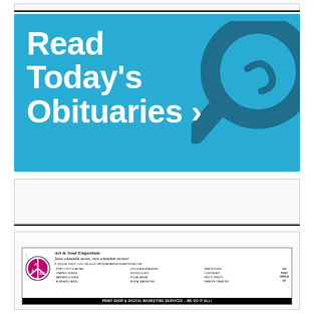[Figure (illustration): Cyan/blue advertisement banner reading 'Read Today's Obituaries >' with a large magnifying glass icon in the upper right corner]
[Figure (illustration): Art & Soul Emporium print shop and digital marketing services advertisement with logo, contact information, and list of services]